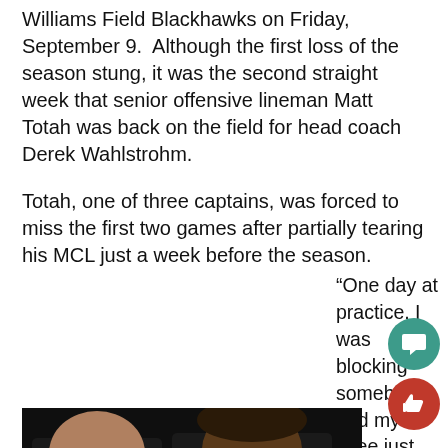Williams Field Blackhawks on Friday, September 9. Although the first loss of the season stung, it was the second straight week that senior offensive lineman Matt Totah was back on the field for head coach Derek Wahlstrohm.
Totah, one of three captains, was forced to miss the first two games after partially tearing his MCL just a week before the season.
“One day at practice, I was blocking somebody and my knee just gave out and kicked
[Figure (photo): Two football players, one heavier-set on the left and one with dreadlocks blowing a pink bubble gum bubble on the right, photographed indoors in a dark setting.]